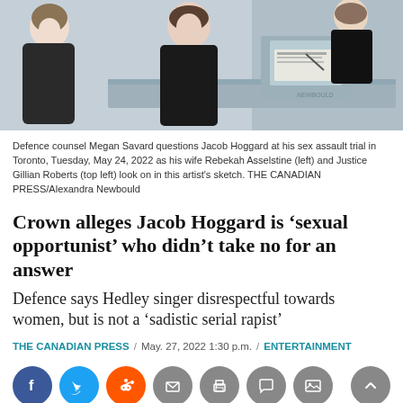[Figure (illustration): Courtroom artist sketch showing defence counsel Megan Savard questioning Jacob Hoggard at his sex assault trial, with his wife Rebekah Asselstine (left) and Justice Gillian Roberts (top left) looking on.]
Defence counsel Megan Savard questions Jacob Hoggard at his sex assault trial in Toronto, Tuesday, May 24, 2022 as his wife Rebekah Asselstine (left) and Justice Gillian Roberts (top left) look on in this artist's sketch. THE CANADIAN PRESS/Alexandra Newbould
Crown alleges Jacob Hoggard is ‘sexual opportunist’ who didn’t take no for an answer
Defence says Hedley singer disrespectful towards women, but is not a ‘sadistic serial rapist’
THE CANADIAN PRESS / May. 27, 2022 1:30 p.m. / ENTERTAINMENT